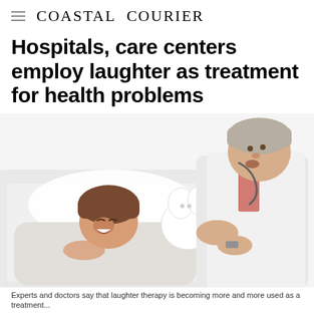Coastal Courier
Hospitals, care centers employ laughter as treatment for health problems
[Figure (photo): A child patient lying in a hospital bed laughing joyfully while an older male doctor in a white coat leans over and playfully interacts with a white stuffed animal toy, creating a warm and humorous moment.]
Experts and doctors say that laughter therapy is becoming more and more used as a treatment...